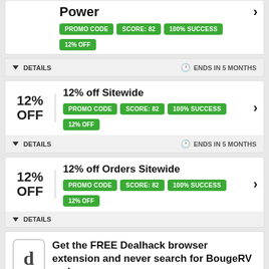Power
PROMO CODE | SCORE: 82 | 100% SUCCESS | 12% OFF
DETAILS   ENDS IN 5 MONTHS
12% OFF
12% off Sitewide
PROMO CODE | SCORE: 82 | 100% SUCCESS | 12% OFF
DETAILS   ENDS IN 5 MONTHS
12% OFF
12% off Orders Sitewide
PROMO CODE | SCORE: 82 | 100% SUCCESS | 12% OFF
DETAILS
Get the FREE Dealhack browser extension and never search for BougeRV codes